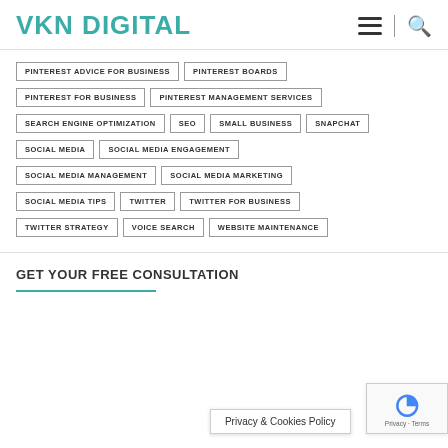VKN DIGITAL
PINTEREST ADVICE FOR BUSINESS
PINTEREST BOARDS
PINTEREST FOR BUSINESS
PINTEREST MANAGEMENT SERVICES
SEARCH ENGINE OPTIMIZATION
SEO
SMALL BUSINESS
SNAPCHAT
SOCIAL MEDIA
SOCIAL MEDIA ENGAGEMENT
SOCIAL MEDIA MANAGEMENT
SOCIAL MEDIA MARKETING
SOCIAL MEDIA TIPS
TWITTER
TWITTER FOR BUSINESS
TWITTER STRATEGY
VOICE SEARCH
WEBSITE MAINTENANCE
GET YOUR FREE CONSULTATION
Privacy & Cookies Policy